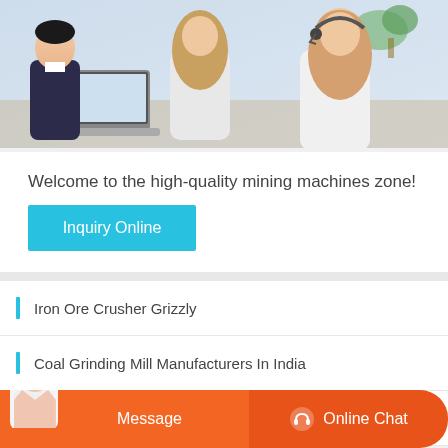[Figure (photo): Photo of office workers at laptops, two women and a man visible, one wearing a headset]
Welcome to the high-quality mining machines zone!
Inquiry Online
Iron Ore Crusher Grizzly
Coal Grinding Mill Manufacturers In India
Determine Industrial Processing Of Iron Ore
Message
Online Chat